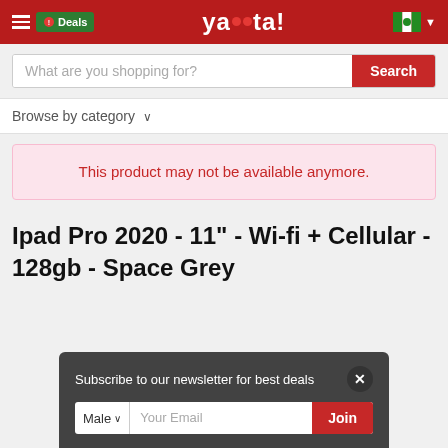Deals | yaoota! | Nigeria
What are you shopping for? Search
Browse by category
This product may not be available anymore.
Ipad Pro 2020 - 11" - Wi-fi + Cellular - 128gb - Space Grey
Subscribe to our newsletter for best deals | Male | Your Email | Join